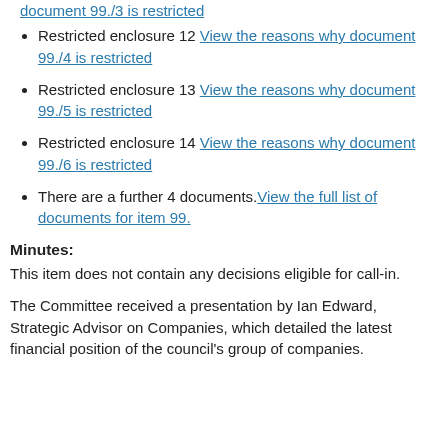Restricted enclosure 12 View the reasons why document 99./4 is restricted
Restricted enclosure 13 View the reasons why document 99./5 is restricted
Restricted enclosure 14 View the reasons why document 99./6 is restricted
There are a further 4 documents. View the full list of documents for item 99.
Minutes:
This item does not contain any decisions eligible for call-in.
The Committee received a presentation by Ian Edward, Strategic Advisor on Companies, which detailed the latest financial position of the council's group of companies.